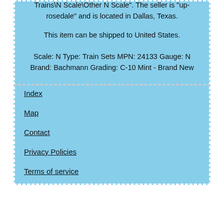Trains\N Scale\Other N Scale". The seller is "up-rosedale" and is located in Dallas, Texas.
This item can be shipped to United States.
Scale: N Type: Train Sets MPN: 24133 Gauge: N Brand: Bachmann Grading: C-10 Mint - Brand New
Index
Map
Contact
Privacy Policies
Terms of service